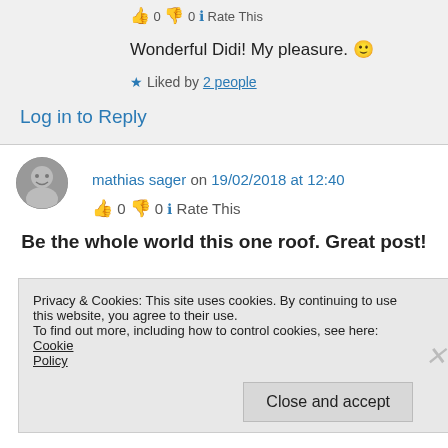👍 0 👎 0 ℹ Rate This
Wonderful Didi! My pleasure. 🙂
★ Liked by 2 people
Log in to Reply
mathias sager on 19/02/2018 at 12:40
👍 0 👎 0 ℹ Rate This
Be the whole world this one roof. Great post!
Privacy & Cookies: This site uses cookies. By continuing to use this website, you agree to their use.
To find out more, including how to control cookies, see here: Cookie Policy
Close and accept